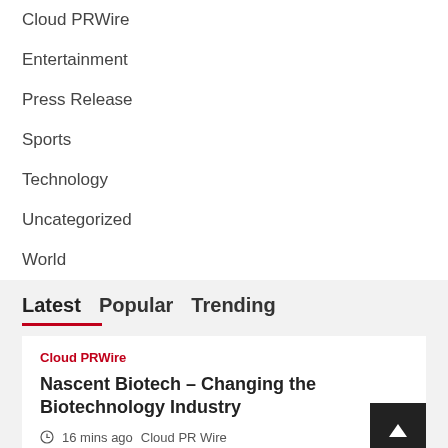Cloud PRWire
Entertainment
Press Release
Sports
Technology
Uncategorized
World
Latest  Popular  Trending
Cloud PRWire
Nascent Biotech – Changing the Biotechnology Industry
16 mins ago  Cloud PR Wire